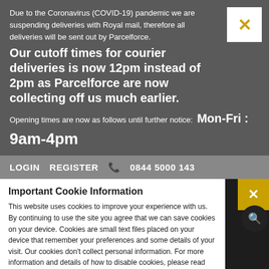Due to the Coronavirus (COVID-19) pandemic we are suspending deliveries with Royal mail, therefore all deliveries will be sent out by Parcelforce.
Our cutoff times for courier deliveries is now 12pm instead of 2pm as Parcelforce are now collecting off us much earlier.
Opening times are now as follows until further notice:  Mon-Fri : 9am-4pm
LOGIN   REGISTER   📞 0844 5000 143
[Figure (screenshot): Bottom section showing Boiler Parts Center website header partially visible behind a cookie consent modal overlay]
Important Cookie Information
This website uses cookies to improve your experience with us. By continuing to use the site you agree that we can save cookies on your device. Cookies are small text files placed on your device that remember your preferences and some details of your visit. Our cookies don't collect personal information. For more information and details of how to disable cookies, please read our privacy and cookie policy.